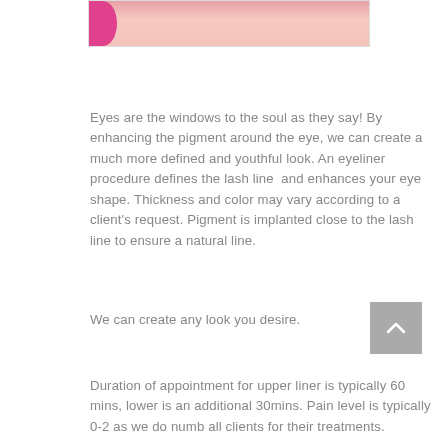[Figure (photo): Partial photo of a closed eye area with skin tone and pink element on the left, cropped at top of page]
Eyes are the windows to the soul as they say! By enhancing the pigment around the eye, we can create a much more defined and youthful look. An eyeliner procedure defines the lash line  and enhances your eye shape. Thickness and color may vary according to a client's request. Pigment is implanted close to the lash line to ensure a natural line.
We can create any look you desire.
[Figure (other): Grey scroll-to-top button with upward chevron arrow]
Duration of appointment for upper liner is typically 60 mins, lower is an additional 30mins. Pain level is typically 0-2 as we do numb all clients for their treatments.